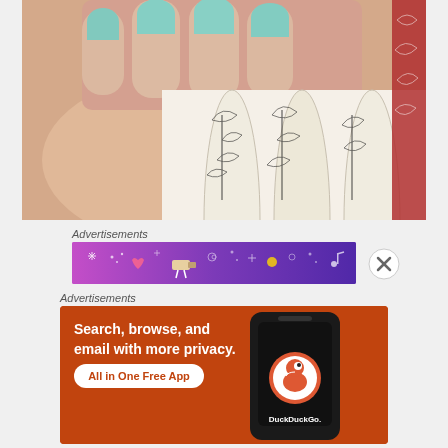[Figure (photo): Close-up photo of a hand with mint/teal painted nails resting on rolled fabric or paper with black and white bird/tree print pattern. Red patterned fabric visible in background right.]
Advertisements
[Figure (infographic): Purple gradient advertisement banner with decorative sparkle and icon elements]
[Figure (other): Close (X) button circle]
Advertisements
[Figure (screenshot): DuckDuckGo advertisement on orange/red background. Text: 'Search, browse, and email with more privacy. All in One Free App'. Shows a smartphone with DuckDuckGo logo and branding.]